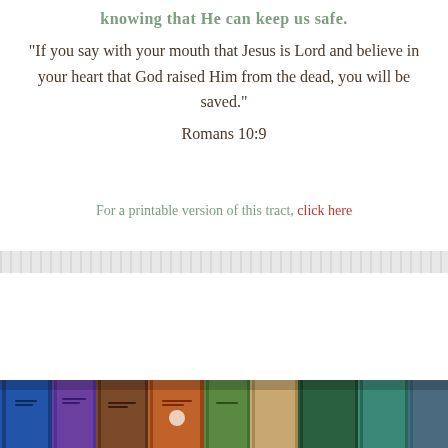knowing that He can keep us safe.
“If you say with your mouth that Jesus is Lord and believe in your heart that God raised Him from the dead, you will be saved.”
Romans 10:9
For a printable version of this tract, click here
[Figure (photo): Row of colorful book spines viewed from above including blue, purple, brown, orange, red, and green books]